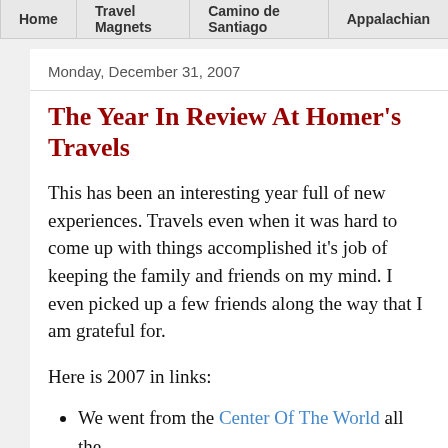Home | Travel Magnets | Camino de Santiago | Appalach
Monday, December 31, 2007
The Year In Review At Homer's Travels
This has been an interesting year full of new experiences. Travels even when it was hard to come up with things accomplished it's job of keeping the family and friends on my mind. I even picked up a few friends along the way that I am grateful for.
Here is 2007 in links:
We went from the Center Of The World all the way to the Jet Propulsion Laboratory.